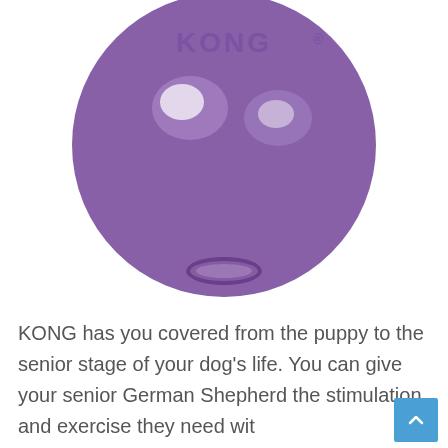[Figure (photo): A purple KONG ball dog toy with 'KONG' embossed on top, showing a round rubber ball with a hole at the bottom, photographed against a white background.]
KONG has you covered from the puppy to the senior stage of your dog's life. You can give your senior German Shepherd the stimulation and exercise they need with worrying about harming their sensitive